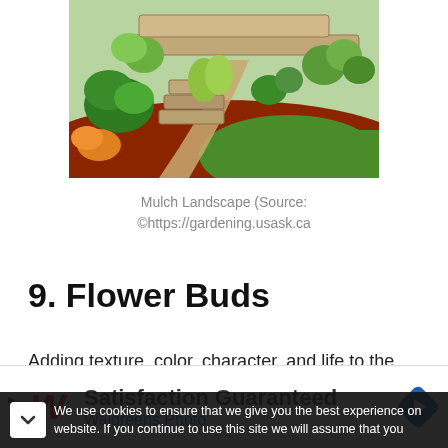[Figure (photo): Photo of a mulch landscape garden with stone steps, ornamental grasses, shrubs, and green lawn with red mulch]
Mulch Landscape (Source:
©https://gardening.usask.ca
9. Flower Buds
Adding texture, color, character, and life to the landscape, flowerbuds enhance the beauty around
We use cookies to ensure that we give you the best experience on website. If you continue to use this site we will assume that you
[Figure (other): Advertisement banner for Walgreens Photo with logo, text 'Satisfaction Guaranteed' and 'Walgreens Photo', and a navigation icon]